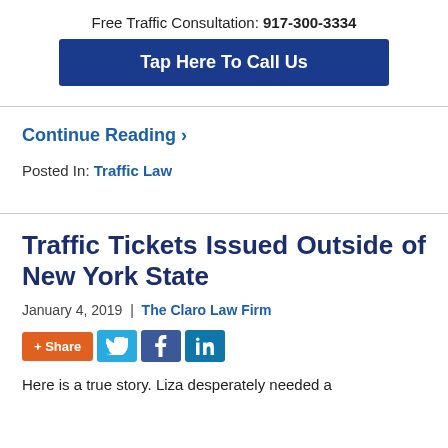Free Traffic Consultation: 917-300-3334
[Figure (other): Blue button: Tap Here To Call Us]
Continue Reading ›
Posted In: Traffic Law
Traffic Tickets Issued Outside of New York State
January 4, 2019  |  The Claro Law Firm
[Figure (other): Social sharing buttons: + Share, Twitter, Facebook, LinkedIn]
Here is a true story. Liza desperately needed a